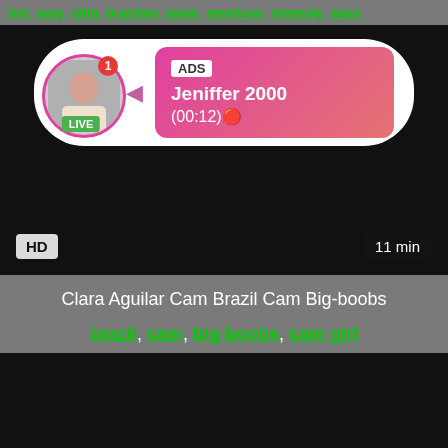hot, sexy, latin, brazilian, asian, american, shemale, span...
[Figure (screenshot): Video player with ad overlay showing user 'Jeniffer 2000' with LIVE badge, HD badge and 11 min duration. Dark video background.]
Clara Aguilar Cam Brazil Cam Big-boobs
brazil, cam, big boobs, cam girl
[Figure (screenshot): Second video player, dark/black background, no overlay.]